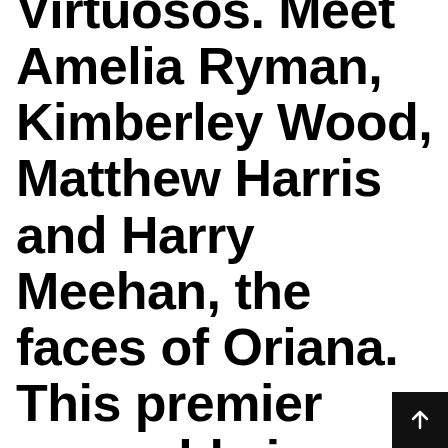Virtuosos. Meet Amelia Ryman, Kimberley Wood, Matthew Harris and Harry Meehan, the faces of Oriana. This premier ensemble is rocking retrospective songs like nobody else – think sixteenth/seventeenth century